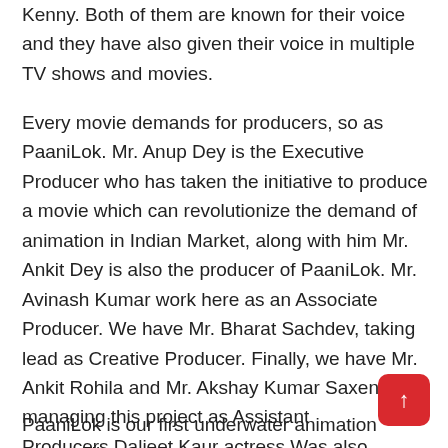Kenny. Both of them are known for their voice and they have also given their voice in multiple TV shows and movies.
Every movie demands for producers, so as PaaniLok. Mr. Anup Dey is the Executive Producer who has taken the initiative to produce a movie which can revolutionize the demand of animation in Indian Market, along with him Mr. Ankit Dey is also the producer of PaaniLok. Mr. Avinash Kumar work here as an Associate Producer. We have Mr. Bharat Sachdev, taking lead as Creative Producer. Finally, we have Mr. Ankit Rohila and Mr. Akshay Kumar Saxena, managing this project as Assistant Producers.Daljeet Kaur actress Was also present at the Press Confrence to give her Good wishes.
PaaniLok is our first underwater animation feature film